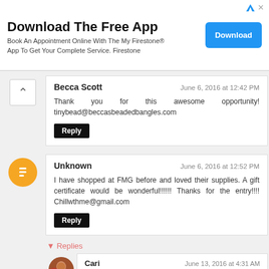[Figure (infographic): Advertisement banner: Download The Free App - Book An Appointment Online With The My Firestone App To Get Your Complete Service. Firestone. Blue Download button on right.]
Becca Scott
June 6, 2016 at 12:42 PM
Thank you for this awesome opportunity! tinybead@beccasbeadedbangles.com
Reply
Unknown
June 6, 2016 at 12:52 PM
I have shopped at FMG before and loved their supplies. A gift certificate would be wonderful!!!!!! Thanks for the entry!!!! Chillwthme@gmail.com
Reply
Replies
Cari
June 13, 2016 at 4:31 AM
I am starting out my biz so anything I can get will